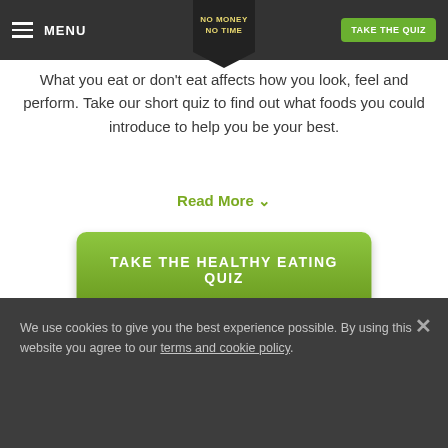MENU | NO MONEY NO TIME | TAKE THE QUIZ
What you eat or don't eat affects how you look, feel and perform. Take our short quiz to find out what foods you could introduce to help you be your best.
Read More ˅
[Figure (other): Large green button labeled TAKE THE HEALTHY EATING QUIZ]
We use cookies to give you the best experience possible. By using this website you agree to our terms and cookie policy.